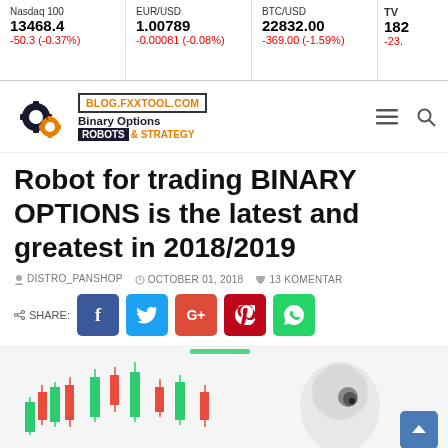Nasdaq 100 13468.4 -50.3 (-0.37%) | EUR/USD 1.00789 -0.00081 (-0.08%) | BTC/USD 22832.00 -369.00 (-1.59%) | TV 182 -23.
[Figure (logo): blog.fxxtool.com Binary Options Robots & Strategy logo with gear icons]
Robot for trading BINARY OPTIONS is the latest and greatest in 2018/2019
DISTRO_PANSHOP   OCTOBER 01, 2018   13 KOMENTAR
SHARE: [Facebook] [Twitter] [Google+] [Pinterest] [WhatsApp]
[Figure (photo): Candlestick chart with red and green candles alongside a robot figure]